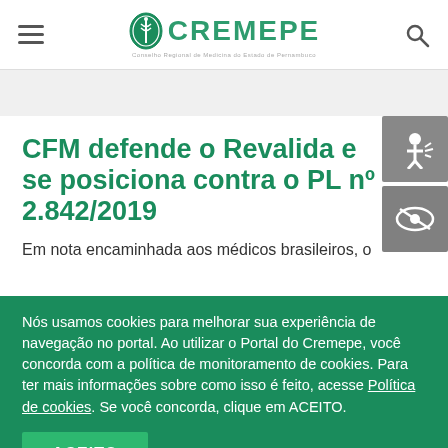CREMEPE — Conselho Regional de Medicina do Estado de Pernambuco
CFM defende o Revalida e se posiciona contra o PL nº 2.842/2019
Em nota encaminhada aos médicos brasileiros, o
Nós usamos cookies para melhorar sua experiência de navegação no portal. Ao utilizar o Portal do Cremepe, você concorda com a política de monitoramento de cookies. Para ter mais informações sobre como isso é feito, acesse Política de cookies. Se você concorda, clique em ACEITO.
ACEITO